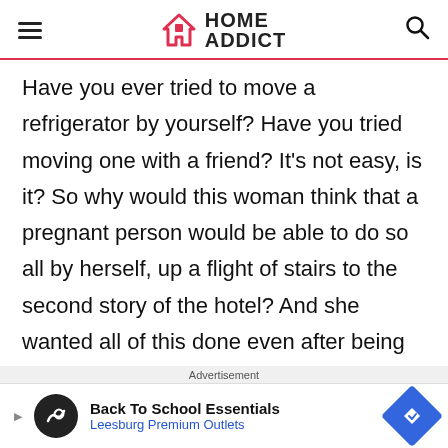HOME ADDICT
Have you ever tried to move a refrigerator by yourself? Have you tried moving one with a friend? It's not easy, is it? So why would this woman think that a pregnant person would be able to do so all by herself, up a flight of stairs to the second story of the hotel? And she wanted all of this done even after being offered an upgrade for free. Of course,